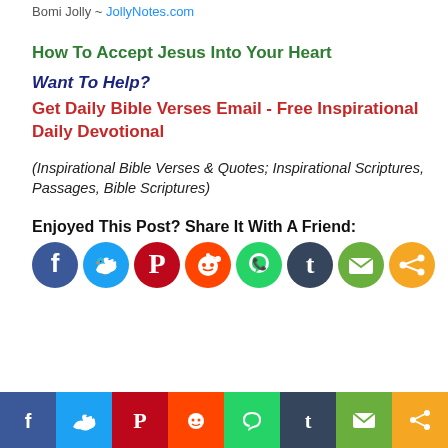Bomi Jolly ~ JollyNotes.com
How To Accept Jesus Into Your Heart
Want To Help?
Get Daily Bible Verses Email - Free Inspirational Daily Devotional
(Inspirational Bible Verses & Quotes; Inspirational Scriptures, Passages, Bible Scriptures)
Enjoyed This Post? Share It With A Friend:
[Figure (infographic): Row of 8 social media share icons (Facebook, Twitter, Pinterest, Reddit, WhatsApp, Tumblr, Email, Share) as colored circles]
[Figure (infographic): Bottom bar with 8 social media share icons as colored rectangular sections (Facebook, Twitter, Pinterest, Reddit, WhatsApp, Tumblr, Email, Share)]